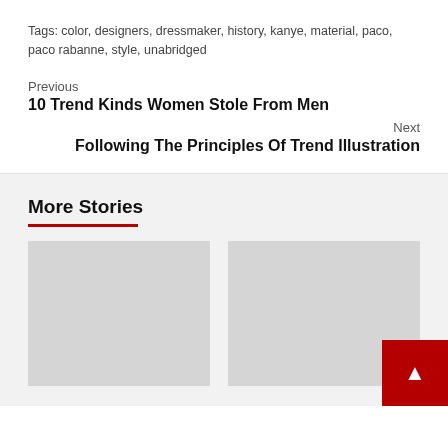Tags: color, designers, dressmaker, history, kanye, material, paco, paco rabanne, style, unabridged
Previous
10 Trend Kinds Women Stole From Men
Next
Following The Principles Of Trend Illustration
More Stories
[Figure (photo): Gray placeholder image for a story card (left)]
[Figure (photo): Gray placeholder image for a story card (right)]